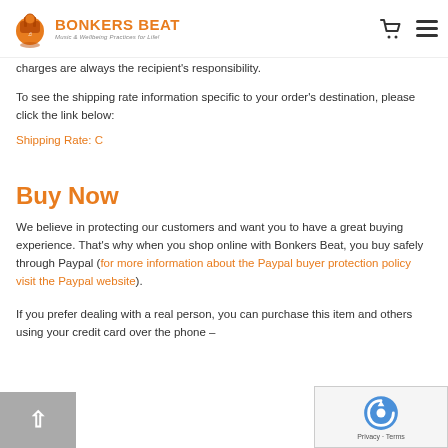Bonkers Beat — Music & Wellbeing Practices for Life!
charges are always the recipient's responsibility.
To see the shipping rate information specific to your order's destination, please click the link below:
Shipping Rate: C
Buy Now
We believe in protecting our customers and want you to have a great buying experience. That's why when you shop online with Bonkers Beat, you buy safely through Paypal (for more information about the Paypal buyer protection policy visit the Paypal website).
If you prefer dealing with a real person, you can purchase this item and others using your credit card over the phone –